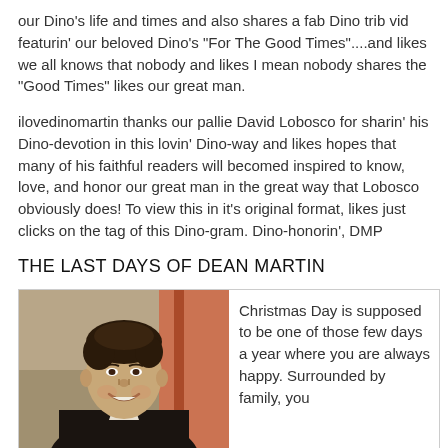our Dino's life and times and also shares a fab Dino trib vid featurin' our beloved Dino's "For The Good Times"....and likes we all knows that nobody and likes I mean nobody shares the "Good Times" likes our great man.
ilovedinomartin thanks our pallie David Lobosco for sharin' his Dino-devotion in this lovin' Dino-way and likes hopes that many of his faithful readers will becomed inspired to know, love, and honor our great man in the great way that Lobosco obviously does! To view this in it's original format, likes just clicks on the tag of this Dino-gram. Dino-honorin', DMP
THE LAST DAYS OF DEAN MARTIN
[Figure (photo): Black and white / color photo of Dean Martin smiling, wearing a dark jacket with white shirt, background with flag or curtain]
Christmas Day is supposed to be one of those few days a year where you are always happy. Surrounded by family, you